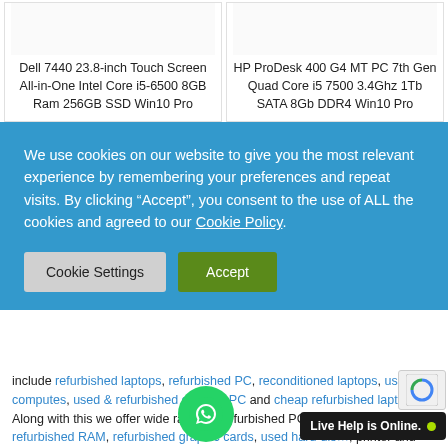Dell 7440 23.8-inch Touch Screen All-in-One Intel Core i5-6500 8GB Ram 256GB SSD Win10 Pro
HP ProDesk 400 G4 MT PC 7th Gen Quad Core i5 7500 3.4Ghz 1Tb SATA 8Gb DDR4 Win10 Pro
We use cookies on our website to give you the most relevant experience by remembering your preferences and repeat visits. By clicking “Accept”, you consent to the use of ALL the cookies and agreed to our Cookie Policy.
Cookie Settings
Accept
include refurbished laptops, refurbished PC, reconditioned laptops, used computes, used & refurbished desktop PC and cheap refurbished laptops. Along with this we offer wide range of refurbished PC components like refurbished RAM, refurbished graphic cards, used hard-disks, printer and cartridge of our products are through graded and comes with warranty.
Live Help is Online.